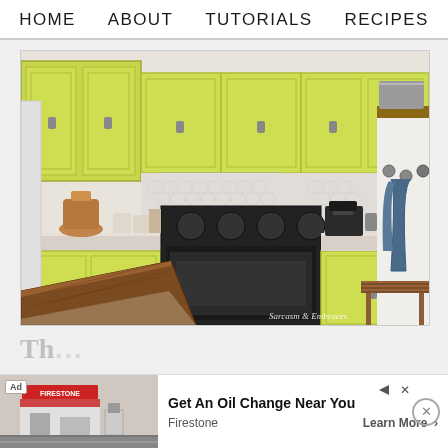HOME   ABOUT   TUTORIALS   RECIPES
[Figure (photo): Kitchen interior with yellow-green painted cabinets, black gas range/oven, white range hood, hexagonal tile backsplash, coffee maker on counter, stand mixer, various canisters, wooden island countertop in foreground, coat hooks with denim jacket on right wall, wooden bench and gray storage bins on shelving. Watermark reads 'Sarcasm & Embraces'.]
Th... YO...
Ad  Get An Oil Change Near You  Firestone  Learn More >